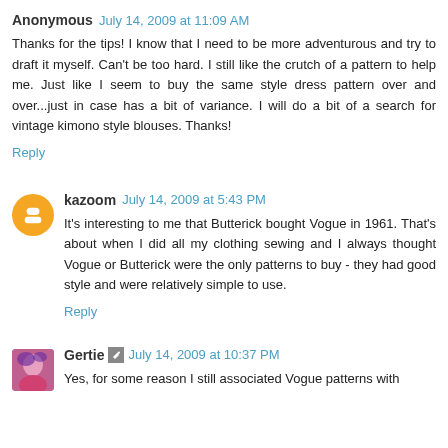Anonymous July 14, 2009 at 11:09 AM
Thanks for the tips! I know that I need to be more adventurous and try to draft it myself. Can't be too hard. I still like the crutch of a pattern to help me. Just like I seem to buy the same style dress pattern over and over...just in case has a bit of variance. I will do a bit of a search for vintage kimono style blouses. Thanks!
Reply
kazoom July 14, 2009 at 5:43 PM
It's interesting to me that Butterick bought Vogue in 1961. That's about when I did all my clothing sewing and I always thought Vogue or Butterick were the only patterns to buy - they had good style and were relatively simple to use.
Reply
Gertie July 14, 2009 at 10:37 PM
Yes, for some reason I still associated Vogue patterns with